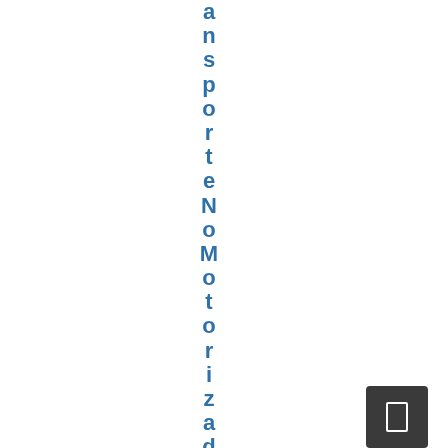transporteNoMotorizadoD es
[Figure (other): Navigation button with rectangle icon in bottom right corner]